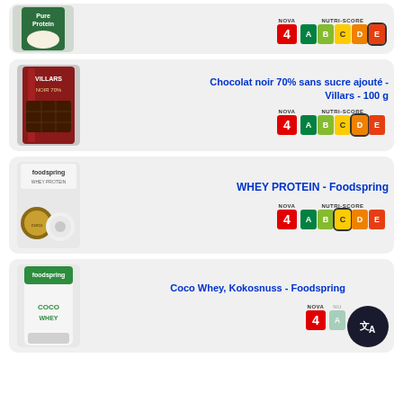[Figure (photo): Pure Protein product with whipped cream - partial card showing NOVA 4 and Nutri-Score E]
NOVA 4, NUTRI-SCORE E
[Figure (photo): Villars dark chocolate 70% no added sugar bar product image]
Chocolat noir 70% sans sucre ajouté - Villars - 100 g
NOVA 4, NUTRI-SCORE D
[Figure (photo): Foodspring Whey Protein product with coconut]
WHEY PROTEIN - Foodspring
NOVA 4, NUTRI-SCORE C
[Figure (photo): Foodspring Coco Whey Kokosnuss product bag]
Coco Whey, Kokosnuss - Foodspring
NOVA 4, NUTRI-SCORE (partially obscured by translation button)